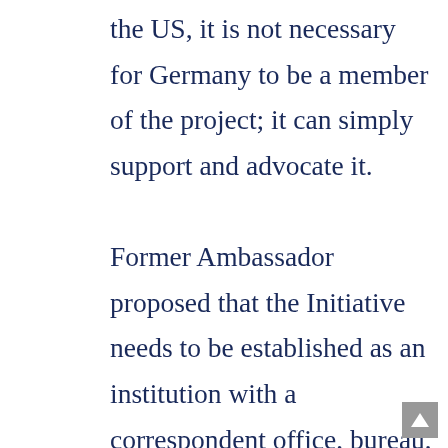the US, it is not necessary for Germany to be a member of the project; it can simply support and advocate it. Former Ambassador proposed that the Initiative needs to be established as an institution with a correspondent office, bureau, and secretariat – a body staffed by representatives of each participating country to run projects efficiently.